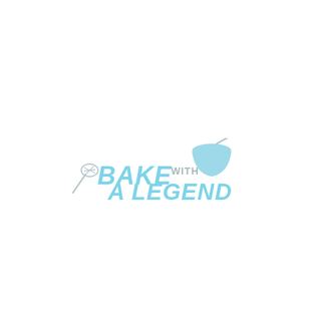[Figure (logo): Bake With A Legend logo: light blue/cyan italic bold text reading 'BAKE' on top left, 'WITH' smaller text in gray beside it, 'A LEGEND' on bottom row in cyan italic bold, a whisk icon to the left, and a mixing bowl icon top right in light blue/cyan.]